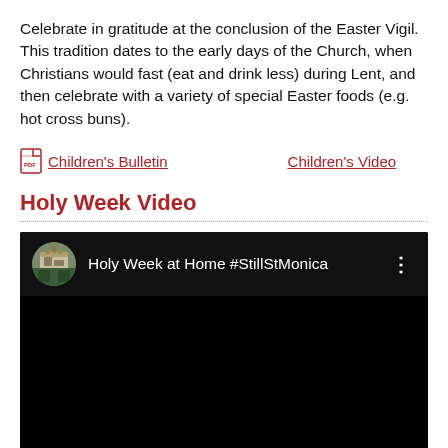Celebrate in gratitude at the conclusion of the Easter Vigil. This tradition dates to the early days of the Church, when Christians would fast (eat and drink less) during Lent, and then celebrate with a variety of special Easter foods (e.g. hot cross buns).
Children's Bulletin   Children's Video
Holy Week Video
[Figure (screenshot): YouTube video embed showing 'Holy Week at Home #StillStMonica' with a church thumbnail and dark video background]